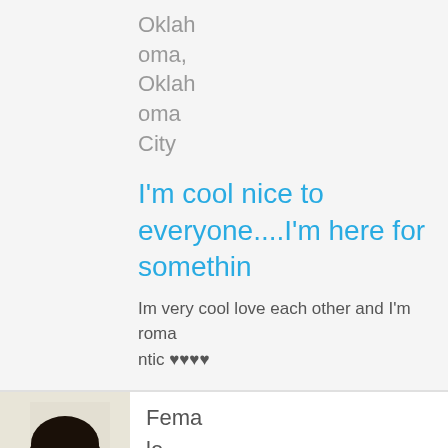Oklahoma, Oklahoma City
I'm cool nice to everyone....I'm here for somethin
Im very cool love each other and I'm romantic ♥♥♥♥
[Figure (photo): Profile photo of a woman with dark hair, username label 'rpez61' at bottom left]
Female Straight Age: